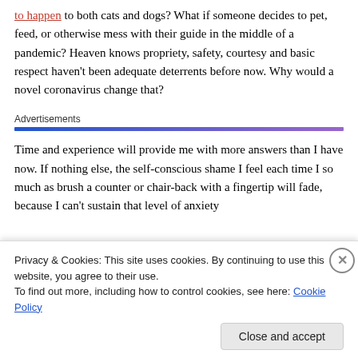get infected, which doesn't seem common but has been known to happen to both cats and dogs? What if someone decides to pet, feed, or otherwise mess with their guide in the middle of a pandemic? Heaven knows propriety, safety, courtesy and basic respect haven't been adequate deterrents before now. Why would a novel coronavirus change that?
Advertisements
Time and experience will provide me with more answers than I have now. If nothing else, the self-conscious shame I feel each time I so much as brush a counter or chair-back with a fingertip will fade, because I can't sustain that level of anxiety
Privacy & Cookies: This site uses cookies. By continuing to use this website, you agree to their use.
To find out more, including how to control cookies, see here: Cookie Policy
Close and accept